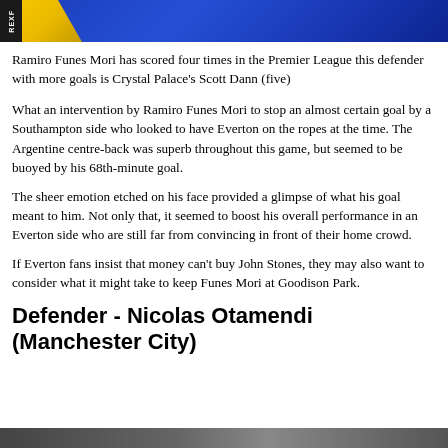[Figure (photo): Blue banner/header image with REX logo badge on the left and a yellow shape, likely a sports photo background]
Ramiro Funes Mori has scored four times in the Premier League this defender with more goals is Crystal Palace's Scott Dann (five)
What an intervention by Ramiro Funes Mori to stop an almost certain goal by a Southampton side who looked to have Everton on the ropes at the time. The Argentine centre-back was superb throughout this game, but seemed to be buoyed by his 68th-minute goal.
The sheer emotion etched on his face provided a glimpse of what his goal meant to him. Not only that, it seemed to boost his overall performance in an Everton side who are still far from convincing in front of their home crowd.
If Everton fans insist that money can't buy John Stones, they may also want to consider what it might take to keep Funes Mori at Goodison Park.
Defender - Nicolas Otamendi (Manchester City)
[Figure (photo): Partial photo at the bottom of the page, appears to be a sports/football image]